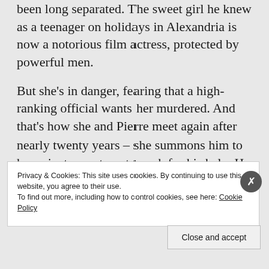been long separated. The sweet girl he knew as a teenager on holidays in Alexandria is now a notorious film actress, protected by powerful men.
But she's in danger, fearing that a high-ranking official wants her murdered. And that's how she and Pierre meet again after nearly twenty years – she summons him to her private apartment to ask for his help. He sits agog as she levers off her luxuriant wig, peels off her eyelashes and
Privacy & Cookies: This site uses cookies. By continuing to use this website, you agree to their use.
To find out more, including how to control cookies, see here: Cookie Policy
Close and accept